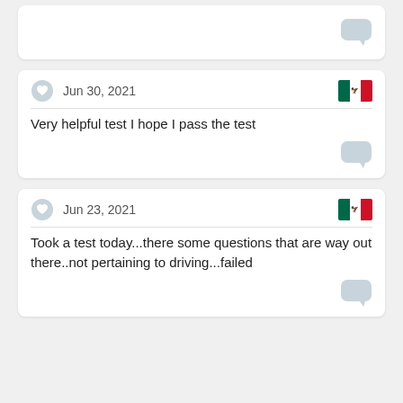[Figure (screenshot): Partial comment card at top showing only a chat bubble icon in bottom right]
Jun 30, 2021
Very helpful test I hope I pass the test
Jun 23, 2021
Took a test today...there some questions that are way out there..not pertaining to driving...failed